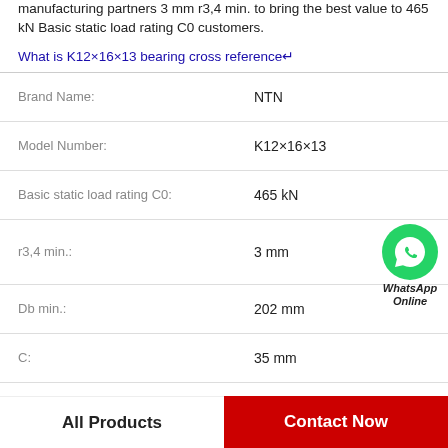manufacturing partners 3 mm r3,4 min. to bring the best value to 465 kN Basic static load rating C0 customers.
What is K12×16×13 bearing cross reference↵
| Property | Value |
| --- | --- |
| Brand Name: | NTN |
| Model Number: | K12×16×13 |
| Basic static load rating C0: | 465 kN |
| r3,4 min.: | 3 mm |
| Db min.: | 202 mm |
| C: | 35 mm |
| Calculation factor e: | 0.83 |
| Da min.: | 168 mm |
All Products
Contact Now